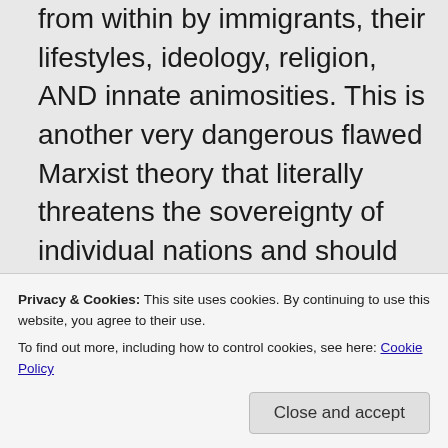from within by immigrants, their lifestyles, ideology, religion, AND innate animosities. This is another very dangerous flawed Marxist theory that literally threatens the sovereignty of individual nations and should be avoided at all costs, especially if you want your country, and your culture, to remain intact. and the cure to this problem is simple. Your sister, and her friends,
Privacy & Cookies: This site uses cookies. By continuing to use this website, you agree to their use. To find out more, including how to control cookies, see here: Cookie Policy
Close and accept